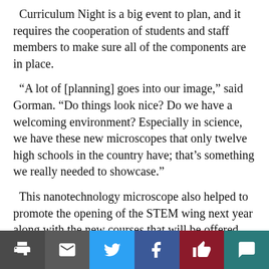Curriculum Night is a big event to plan, and it requires the cooperation of students and staff members to make sure all of the components are in place.
“A lot of [planning] goes into our image,” said Gorman. “Do things look nice? Do we have a welcoming environment? Especially in science, we have these new microscopes that only twelve high schools in the country have; that’s something we really needed to showcase.”
This nanotechnology microscope also helped to promote the opening of the STEM wing next year along with the new courses that will be offered, such as “Mobile Apps and Coding” and “Introduction to Engineering.”
Regarding the booths for clubs and activities, Gorman